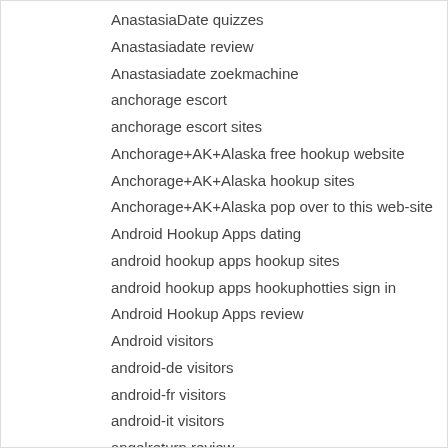AnastasiaDate quizzes
Anastasiadate review
Anastasiadate zoekmachine
anchorage escort
anchorage escort sites
Anchorage+AK+Alaska free hookup website
Anchorage+AK+Alaska hookup sites
Anchorage+AK+Alaska pop over to this web-site
Android Hookup Apps dating
android hookup apps hookup sites
android hookup apps hookuphotties sign in
Android Hookup Apps review
Android visitors
android-de visitors
android-fr visitors
android-it visitors
angelreturn review
angelreturn reviews
angelreturn-inceleme review
ann arbor escort listings